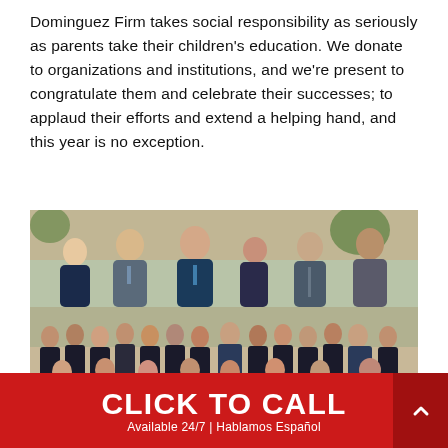Dominguez Firm takes social responsibility as seriously as parents take their children's education. We donate to organizations and institutions, and we're present to congratulate them and celebrate their successes; to applaud their efforts and extend a helping hand, and this year is no exception.
[Figure (photo): Group photo of six professionals (men and women in business attire) posing outdoors near brick building and trees]
[Figure (photo): Large group photo of approximately 25 young students in formal attire with medals/lanyards, posed with one professional man in suit]
CLICK TO CALL
Available 24/7 | Hablamos Español